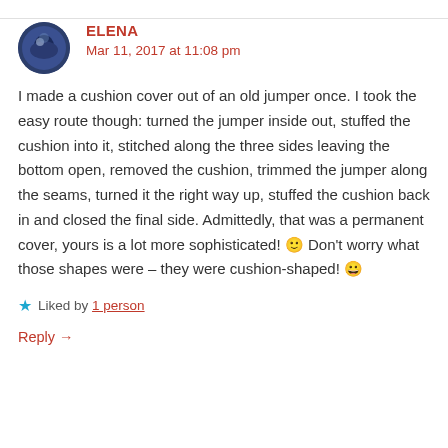ELENA
Mar 11, 2017 at 11:08 pm
I made a cushion cover out of an old jumper once. I took the easy route though: turned the jumper inside out, stuffed the cushion into it, stitched along the three sides leaving the bottom open, removed the cushion, trimmed the jumper along the seams, turned it the right way up, stuffed the cushion back in and closed the final side. Admittedly, that was a permanent cover, yours is a lot more sophisticated! 🙂 Don't worry what those shapes were – they were cushion-shaped! 😀
Liked by 1 person
Reply →